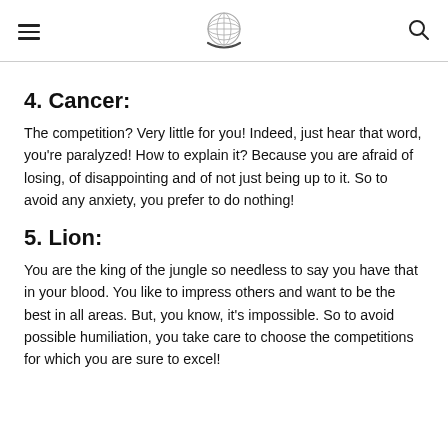[hamburger menu icon] [globe logo] [search icon]
4. Cancer:
The competition? Very little for you! Indeed, just hear that word, you're paralyzed! How to explain it? Because you are afraid of losing, of disappointing and of not just being up to it. So to avoid any anxiety, you prefer to do nothing!
5. Lion:
You are the king of the jungle so needless to say you have that in your blood. You like to impress others and want to be the best in all areas. But, you know, it's impossible. So to avoid possible humiliation, you take care to choose the competitions for which you are sure to excel!